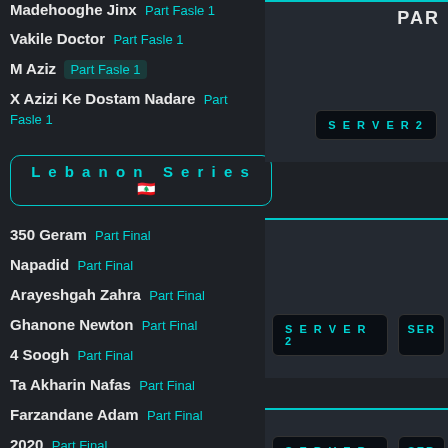Madehooghe Jinx  Part Fasle 1
Vakile Doctor  Part Fasle 1
M Aziz  Part Fasle 1
X Azizi Ke Dostam Nadare  Part Fasle 1
Lebanon Series 🇱🇧
350 Geram  Part Final
Napadid  Part Final
Arayeshgah Zahra  Part Final
Ghanone Newton  Part Final
4 Soogh  Part Final
Ta Akharin Nafas  Part Final
Farzandane Adam  Part Final
2020  Part Final
Nemitavanam  Part Final
Panj va Nim  Part Final
Tango  Part Final
PAR
SERVER2
SERVER2
SER
SERVER2
SER